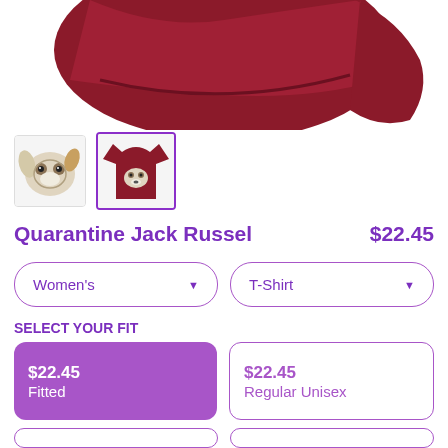[Figure (photo): Partial view of a dark red/maroon t-shirt folded or draped, cropped at top of page]
[Figure (photo): Two product thumbnails: left is a Jack Russell dog face illustration, right (selected with purple border) is the same dog on a red t-shirt]
Quarantine Jack Russel    $22.45
Women's dropdown selector
T-Shirt dropdown selector
SELECT YOUR FIT
$22.45
Fitted
$22.45
Regular Unisex